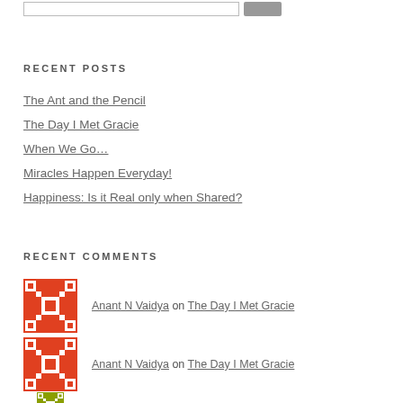RECENT POSTS
The Ant and the Pencil
The Day I Met Gracie
When We Go…
Miracles Happen Everyday!
Happiness: Is it Real only when Shared?
RECENT COMMENTS
Anant N Vaidya on The Day I Met Gracie
Anant N Vaidya on The Day I Met Gracie
Ilhan Bapahana Meditation The Gift of Life